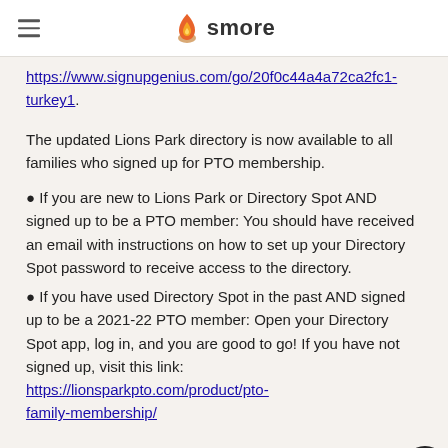smore
https://www.signupgenius.com/go/20f0c44a4a72ca2fc1-turkey1.
The updated Lions Park directory is now available to all families who signed up for PTO membership.
If you are new to Lions Park or Directory Spot AND signed up to be a PTO member: You should have received an email with instructions on how to set up your Directory Spot password to receive access to the directory.
If you have used Directory Spot in the past AND signed up to be a 2021-22 PTO member: Open your Directory Spot app, log in, and you are good to go! If you have not signed up, visit this link: https://lionsparkpto.com/product/pto-family-membership/
We are excited to announce that our next PTO meeting...